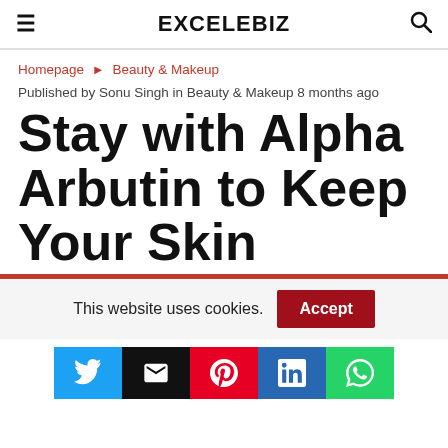EXCELEBIZ
Homepage ▶ Beauty & Makeup
Published by Sonu Singh in Beauty & Makeup 8 months ago
Stay with Alpha Arbutin to Keep Your Skin
This website uses cookies.
Accept
[Figure (other): Social share buttons: Twitter, Email, Pinterest, LinkedIn, WhatsApp]